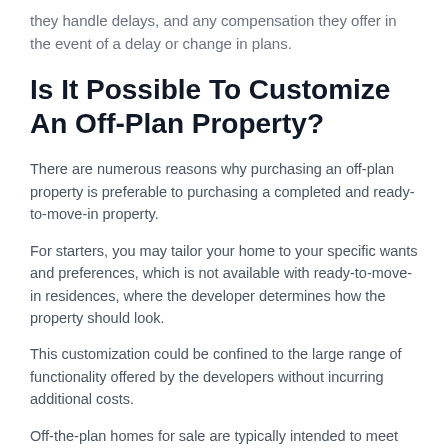they handle delays, and any compensation they offer in the event of a delay or change in plans.
Is It Possible To Customize An Off-Plan Property?
There are numerous reasons why purchasing an off-plan property is preferable to purchasing a completed and ready-to-move-in property.
For starters, you may tailor your home to your specific wants and preferences, which is not available with ready-to-move-in residences, where the developer determines how the property should look.
This customization could be confined to the large range of functionality offered by the developers without incurring additional costs.
Off-the-plan homes for sale are typically intended to meet the needs of a wide range of people. However, if you want unique features, you may have to pay a premium to get what you want.